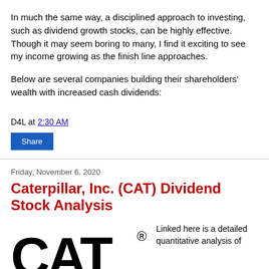In much the same way, a disciplined approach to investing, such as dividend growth stocks, can be highly effective. Though it may seem boring to many, I find it exciting to see my income growing as the finish line approaches.
Below are several companies building their shareholders' wealth with increased cash dividends:
D4L at 2:30 AM
Share
Friday, November 6, 2020
Caterpillar, Inc. (CAT) Dividend Stock Analysis
[Figure (logo): Caterpillar CAT logo in large bold black text with registered trademark symbol]
Linked here is a detailed quantitative analysis of